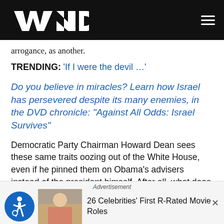WND
arrogance, as another.
TRENDING: 'If I were the devil …'
Do you believe in miracles? Learn how Israel has persevered despite its many enemies, in the DVD chronicle: "Against All Odds: Israel Survives"
Democratic Party Chairman Howard Dean sees these same traits oozing out of the White House, even if he pinned them on Obama's advisers instead of the president himself. After all, what does his recent statement on
Advertisement
26 Celebrities' First R-Rated Movie Roles